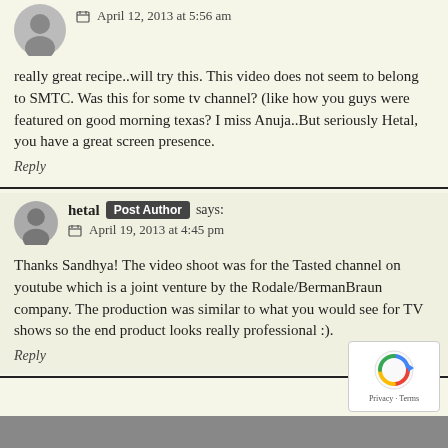April 12, 2013 at 5:56 am
really great recipe..will try this. This video does not seem to belong to SMTC. Was this for some tv channel? (like how you guys were featured on good morning texas? I miss Anuja..But seriously Hetal, you have a great screen presence.
Reply
hetal Post Author says:
April 19, 2013 at 4:45 pm
Thanks Sandhya! The video shoot was for the Tasted channel on youtube which is a joint venture by the Rodale/BermanBraun company. The production was similar to what you would see for TV shows so the end product looks really professional :).
Reply